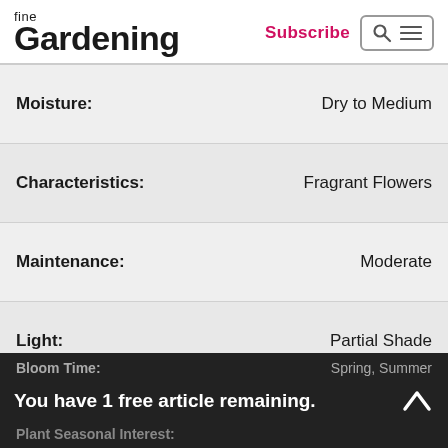fine Gardening | Subscribe
| Property | Value |
| --- | --- |
| Moisture: | Dry to Medium |
| Characteristics: | Fragrant Flowers |
| Maintenance: | Moderate |
| Light: | Partial Shade |
| Flower Color: | Pink, Red, White |
| Plant Type: | Shrubs |
| Growth Rate: | Slow |
Bloom Time: Spring, Summer | You have 1 free article remaining. | Plant Seasonal Interest: